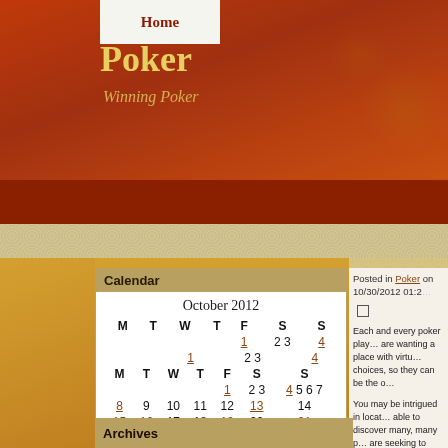Poker
Winning Poker
Home
Calendar
| M | T | W | T | F | S | S |
| --- | --- | --- | --- | --- | --- | --- |
|  |  |  |  | 1 | 2 3 | 4 | 5 | 6 | 7 |
| 8 | 9 | 10 | 11 | 12 | 13 | 14 |
| 15 | 16 | 17 | 18 | 19 | 20 | 21 |
| 22 | 23 | 24 | 25 | 26 | 27 | 28 |
| 29 | 30 |  |  |  |  |  |
« Sep    Nov »
Archives
Posted in Poker on 10/30/2012 01:2...
Each and every poker player are wanting a place with virtually choices, so they can be the on...
You may be intrigued in locating able to discover many, many p... are seeking to really gamble w... you can decide if you would lik... chance on a large tournament...